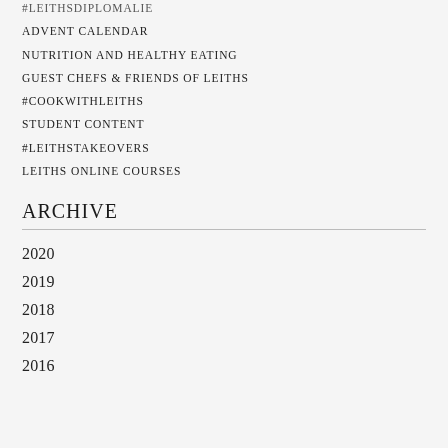#LEITHSDIPLOMALIE (truncated)
ADVENT CALENDAR
NUTRITION AND HEALTHY EATING
GUEST CHEFS & FRIENDS OF LEITHS
#COOKWITHLEITHS
STUDENT CONTENT
#LEITHSTAKEOVERS
LEITHS ONLINE COURSES
ARCHIVE
2020
2019
2018
2017
2016